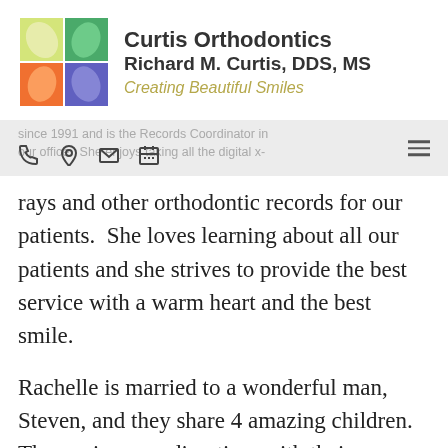[Figure (logo): Curtis Orthodontics logo: a 2x2 grid of colored leaf/petal squares (yellow-green top-left, green top-right, orange bottom-left, blue-purple bottom-right) with text 'Curtis Orthodontics / Richard M. Curtis, DDS, MS / Creating Beautiful Smiles']
since 1991 and is the Records Coordinator in our office. She enjoys taking all the digital x-
rays and other orthodontic records for our patients.  She loves learning about all our patients and she strives to provide the best service with a warm heart and the best smile.
Rachelle is married to a wonderful man, Steven, and they share 4 amazing children. They enjoy spending time with their